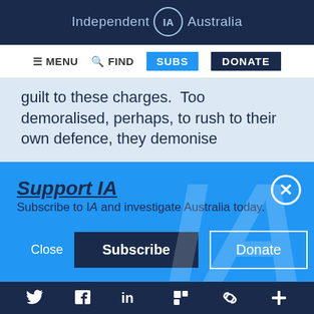Independent IA Australia
≡ MENU  🔍 FIND  SUBS  DONATE
guilt to these charges.  Too demoralised, perhaps, to rush to their own defence, they demonise
Support IA
Subscribe to IA and investigate Australia today.
Close  Subscribe  Donate
Twitter  Facebook  LinkedIn  Flipboard  Link  More